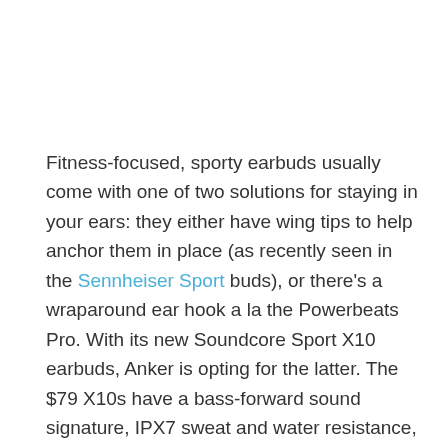Fitness-focused, sporty earbuds usually come with one of two solutions for staying in your ears: they either have wing tips to help anchor them in place (as recently seen in the Sennheiser Sport buds), or there's a wraparound ear hook a la the Powerbeats Pro. With its new Soundcore Sport X10 earbuds, Anker is opting for the latter. The $79 X10s have a bass-forward sound signature, IPX7 sweat and water resistance, and up to eight hours of continuous battery life (or 32 including case recharges). They're available now in black...